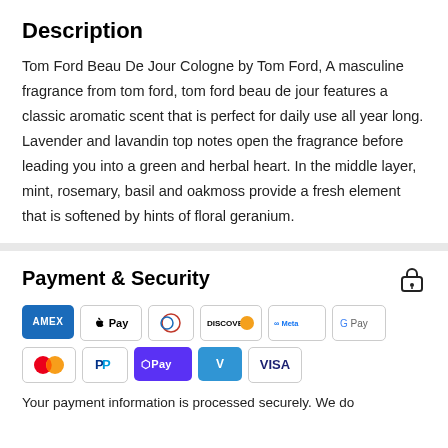Description
Tom Ford Beau De Jour Cologne by Tom Ford, A masculine fragrance from tom ford, tom ford beau de jour features a classic aromatic scent that is perfect for daily use all year long. Lavender and lavandin top notes open the fragrance before leading you into a green and herbal heart. In the middle layer, mint, rosemary, basil and oakmoss provide a fresh element that is softened by hints of floral geranium.
Payment & Security
[Figure (infographic): Payment method logos: American Express, Apple Pay, Diners Club, Discover, Meta Pay, Google Pay, Mastercard, PayPal, Shop Pay, Venmo, Visa]
Your payment information is processed securely. We do